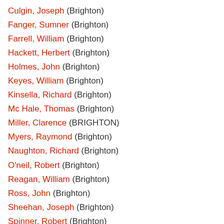Culgin, Joseph (Brighton)
Fanger, Sumner (Brighton)
Farrell, William (Brighton)
Hackett, Herbert (Brighton)
Holmes, John (Brighton)
Keyes, William (Brighton)
Kinsella, Richard (Brighton)
Mc Hale, Thomas (Brighton)
Miller, Clarence (BRIGHTON)
Myers, Raymond (Brighton)
Naughton, Richard (Brighton)
O'neil, Robert (Brighton)
Reagan, William (Brighton)
Ross, John (Brighton)
Sheehan, Joseph (Brighton)
Spinner, Robert (Brighton)
Strong, George (Brighton)
Sullivan, James (BRIGHTON)